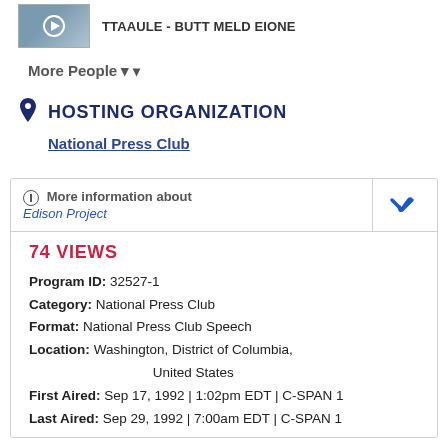[Figure (photo): Small video thumbnail image with play button, next to partially visible title text]
More People ▾
HOSTING ORGANIZATION
National Press Club
More information about Edison Project
74 VIEWS
Program ID: 32527-1
Category: National Press Club
Format: National Press Club Speech
Location: Washington, District of Columbia, United States
First Aired: Sep 17, 1992 | 1:02pm EDT | C-SPAN 1
Last Aired: Sep 29, 1992 | 7:00am EDT | C-SPAN 1